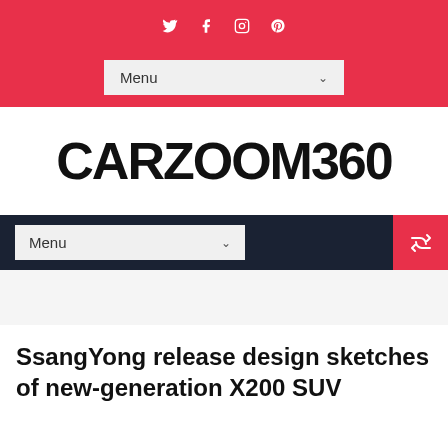Social icons: Twitter, Facebook, Instagram, Pinterest
[Figure (screenshot): Menu dropdown bar with 'Menu' label and chevron, on red background]
CARZOOM360
[Figure (screenshot): Dark navy navigation bar with 'Menu' dropdown and shuffle icon button on red background]
[Figure (screenshot): Light gray advertisement/banner placeholder area]
SsangYong release design sketches of new-generation X200 SUV